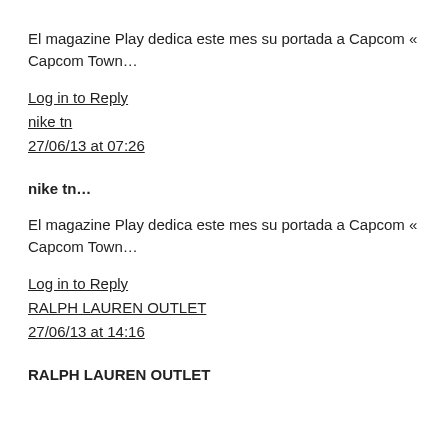El magazine Play dedica este mes su portada a Capcom « Capcom Town…
Log in to Reply
nike tn
27/06/13 at 07:26
nike tn…
El magazine Play dedica este mes su portada a Capcom « Capcom Town…
Log in to Reply
RALPH LAUREN OUTLET
27/06/13 at 14:16
RALPH LAUREN OUTLET